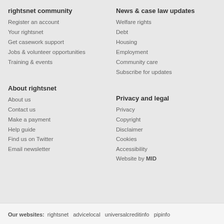rightsnet community
Register an account
Your rightsnet
Get casework support
Jobs & volunteer opportunities
Training & events
News & case law updates
Welfare rights
Debt
Housing
Employment
Community care
Subscribe for updates
About rightsnet
About us
Contact us
Make a payment
Help guide
Find us on Twitter
Email newsletter
Privacy and legal
Privacy
Copyright
Disclaimer
Cookies
Accessibility
Website by MID
Our websites:  rightsnet  advicelocal  universalcreditinfo  pipinfo